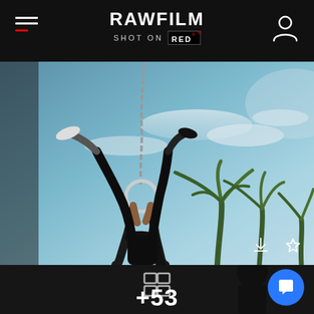[Figure (screenshot): RAWFILM website header with hamburger menu, RAWFILM logo, SHOT ON RED badge, and user icon on dark background]
[Figure (photo): Athlete performing gymnastics rings exercise upside down against blue sky with palm trees, shot on RED camera]
[Figure (screenshot): Lower section of RAWFILM website showing film grid icon, +53 label, and blue chat button]
+53